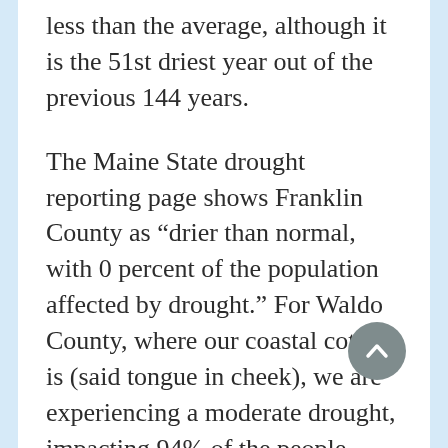less than the average, although it is the 51st driest year out of the previous 144 years.
The Maine State drought reporting page shows Franklin County as “drier than normal, with 0 percent of the population affected by drought.” For Waldo County, where our coastal cottage is (said tongue in cheek), we are experiencing a moderate drought, impacting 94% of the people.
Not sure how I got down that drought